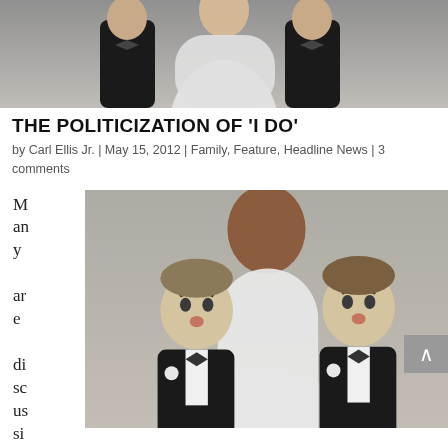[Figure (photo): Close-up photo of wedding cake topper figures showing two groom figurines in tuxedos facing a third figure in a wedding dress, top cropped portion]
THE POLITICIZATION OF 'I DO'
by Carl Ellis Jr. | May 15, 2012 | Family, Feature, Headline News | 3 comments
[Figure (photo): Main photo of wedding cake topper with two groom figurines in black tuxedos facing a figure in a white wedding dress, with text 'Many are discussing the' running vertically to the left]
Many are discussing the